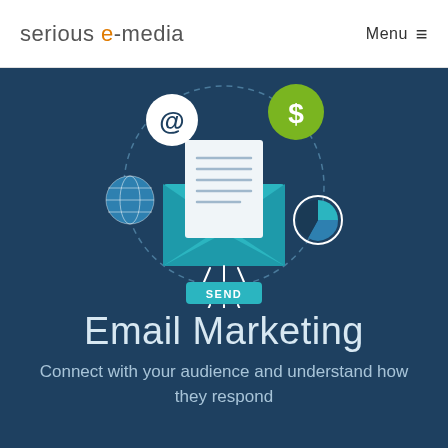serious e-media   Menu ≡
[Figure (illustration): Email marketing illustration: a teal open envelope with a letter inside, surrounded by icons (@ symbol, dollar sign speech bubble, globe, pie chart) connected by a dashed circle. Below the envelope are signal lines and a teal 'SEND' button.]
Email Marketing
Connect with your audience and understand how they respond